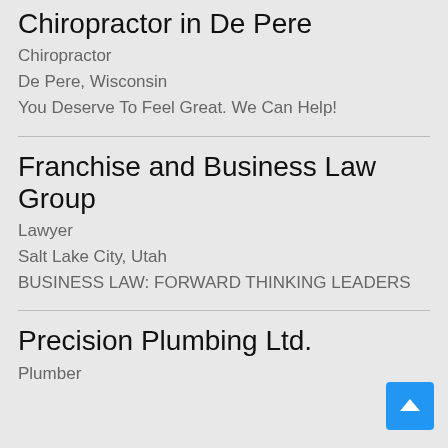Chiropractor in De Pere
Chiropractor
De Pere, Wisconsin
You Deserve To Feel Great. We Can Help!
Franchise and Business Law Group
Lawyer
Salt Lake City, Utah
BUSINESS LAW: FORWARD THINKING LEADERS
Precision Plumbing Ltd.
Plumber